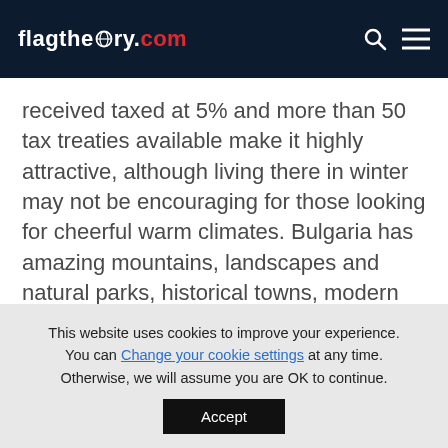flagtheory.com
received taxed at 5% and more than 50 tax treaties available make it highly attractive, although living there in winter may not be encouraging for those looking for cheerful warm climates. Bulgaria has amazing mountains, landscapes and natural parks, historical towns, modern cities and yes, it also has nice beaches where taking a dip in the Black Sea and enjoying its high summer temperatures is possible. Bulgaria is near all
This website uses cookies to improve your experience. You can Change your cookie settings at any time. Otherwise, we will assume you are OK to continue.